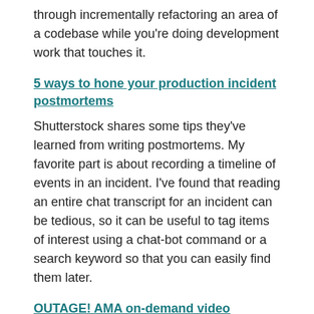through incrementally refactoring an area of a codebase while you're doing development work that touches it.
5 ways to hone your production incident postmortems
Shutterstock shares some tips they've learned from writing postmortems. My favorite part is about recording a timeline of events in an incident. I've found that reading an entire chat transcript for an incident can be tedious, so it can be useful to tag items of interest using a chat-bot command or a search keyword so that you can easily find them later.
OUTAGE! AMA on-demand video
The “Outage!” AMA happened while I was on vacation, and I still haven't had a chance to listen to it. Here's a link in case you'd like to.
10 DevOps Interview Questions to Gauge a Candidate’s Real Knowledge
My favorite: